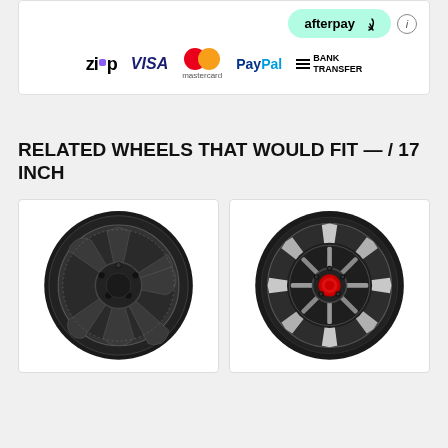[Figure (infographic): Payment options section showing Afterpay button, Zip, Visa, Mastercard, PayPal, and Bank Transfer logos]
RELATED WHEELS THAT WOULD FIT — / 17 INCH
[Figure (photo): Black steel wheel with 7-spoke design, 17 inch]
[Figure (photo): Black milled alloy wheel with multi-spoke aggressive design and red center cap, 17 inch]